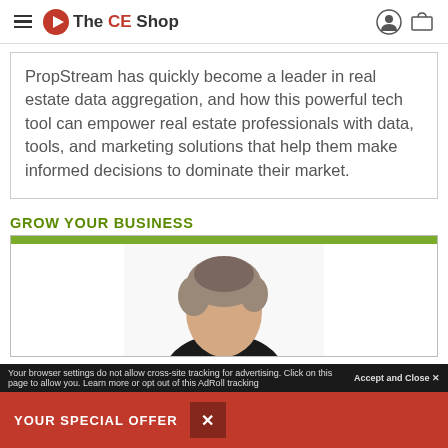The CE Shop
PropStream has quickly become a leader in real estate data aggregation, and how this powerful tech tool can empower real estate professionals with data, tools, and marketing solutions that help them make informed decisions to dominate their market.
GROW YOUR BUSINESS
[Figure (photo): Partial view of a person's head (grey hair) against a white background inside a card with a green top bar]
Accept and Close × Your browser settings do not allow cross-site tracking for advertising. Click on this page to allow you. Learn more or opt out of this AdRoll tracking
YOUR SPECIAL OFFER ×